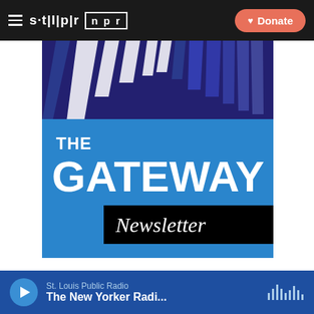stlpr | npr — Donate
[Figure (illustration): The Gateway Newsletter banner image with blue and dark navy vertical stripe patterns at top and bright blue background with large white text THE GATEWAY and black box with italic Newsletter]
Stay informed by getting the local, in-depth news that impacts your life sent straight to your inbox every weekday.
St. Louis Public Radio — The New Yorker Radi...